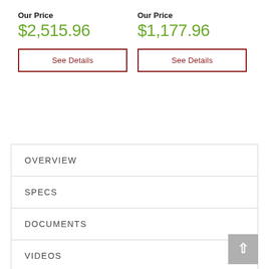Our Price
$2,515.96
See Details
Our Price
$1,177.96
See Details
OVERVIEW
SPECS
DOCUMENTS
VIDEOS
DELIVERY